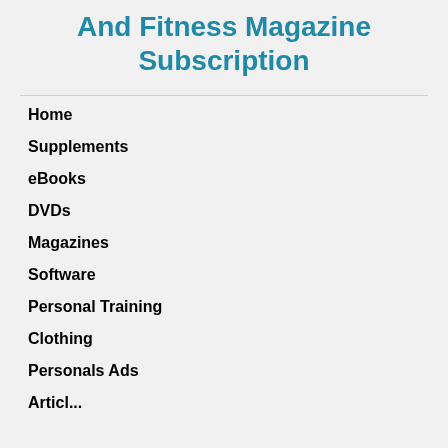And Fitness Magazine Subscription
Home
Supplements
eBooks
DVDs
Magazines
Software
Personal Training
Clothing
Personals Ads
Articles